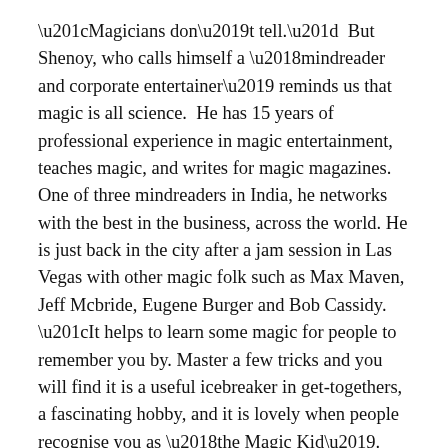“Magicians don’t tell.”  But Shenoy, who calls himself a ‘mindreader and corporate entertainer’ reminds us that magic is all science.  He has 15 years of professional experience in magic entertainment, teaches magic, and writes for magic magazines. One of three mindreaders in India, he networks with the best in the business, across the world. He is just back in the city after a jam session in Las Vegas with other magic folk such as Max Maven, Jeff Mcbride, Eugene Burger and Bob Cassidy. “It helps to learn some magic for people to remember you by. Master a few tricks and you will find it is a useful icebreaker in get-togethers, a fascinating hobby, and it is lovely when people recognise you as ‘the Magic Kid’. Magic is not for muggles. To learn it, you have to be rational, nifty, and cool to fool an audience,” he says.
Software engineer Tiju Philip, a Christ College